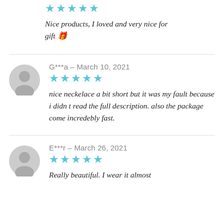[Figure (other): Partial review section at top: 5 blue stars and italic text 'Nice products, I loved and very nice for gift 🎁']
Nice products, I loved and very nice for gift 🎁
[Figure (other): User avatar grey silhouette icon for reviewer G***a]
G***a – March 10, 2021
nice neckelace a bit short but it was my fault because i didn t read the full description. also the package come incredebly fast.
[Figure (other): User avatar grey silhouette icon for reviewer E***r]
E***r – March 26, 2021
Really beautiful. I wear it almost